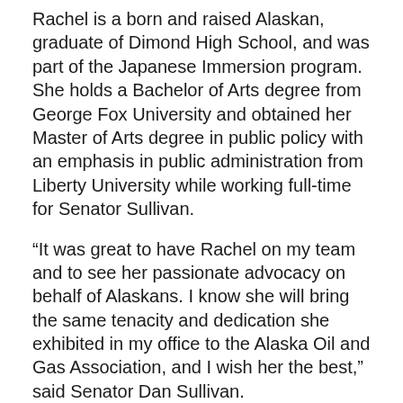Rachel is a born and raised Alaskan, graduate of Dimond High School, and was part of the Japanese Immersion program. She holds a Bachelor of Arts degree from George Fox University and obtained her Master of Arts degree in public policy with an emphasis in public administration from Liberty University while working full-time for Senator Sullivan.
“It was great to have Rachel on my team and to see her passionate advocacy on behalf of Alaskans. I know she will bring the same tenacity and dedication she exhibited in my office to the Alaska Oil and Gas Association, and I wish her the best,” said Senator Dan Sullivan.
“We are extremely excited to work with Rachel,” said Kara Moriarty, AOGA President/CEO. “She is a consummate professional and has a strong work ethic. We look